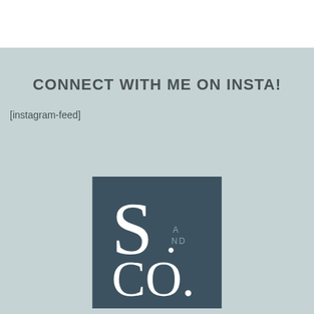CONNECT WITH ME ON INSTA!
[instagram-feed]
[Figure (logo): S. AND CO. logo — dark teal square with large white serif S on left, small text AND stacked vertically in center-right, and CO. in large white serif letters below, with a small dot in bottom right.]